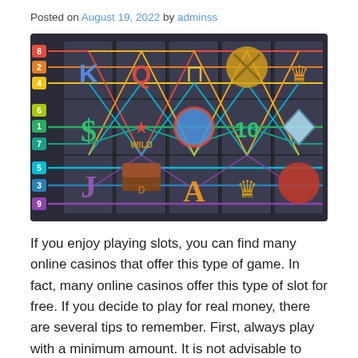Posted on August 19, 2022 by adminss
[Figure (illustration): A slot machine payline diagram showing a 5-reel, 3-row slot game with 9 numbered paylines (1-9) displayed on the left side, each line shown in a different color crossing through the reels. Symbols include K, Q, horseshoe, coin, crown, dollar sign S, star/wild, ball, 10, diamond, J, treasure chest, A, and other slot icons.]
If you enjoy playing slots, you can find many online casinos that offer this type of game. In fact, many online casinos offer this type of slot for free. If you decide to play for real money, there are several tips to remember. First, always play with a minimum amount. It is not advisable to play with too much cash because